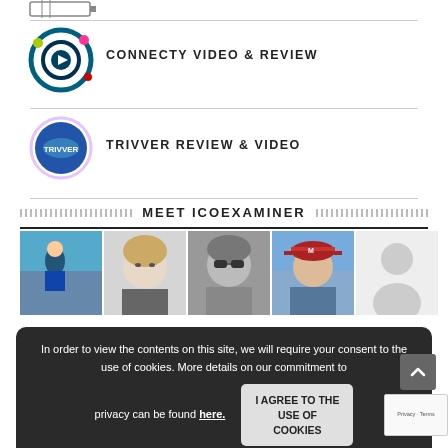[Figure (logo): Partial logo/icon at very top of page, appears to be a device/browser icon]
CONNECTY VIDEO & REVIEW
[Figure (logo): Connecty logo - circular icon with play button and colorful dots]
TRIVVER REVIEW & VIDEO
[Figure (logo): Trivver logo - blue circular disc with TRIVVER text]
MEET ICOEXAMINER
[Figure (photo): Five profile photos of team members/authors in a row]
In order to view the contents on this site, we will require your consent to the use of cookies. More details on our commitment to privacy can be found here.
I AGREE TO THE USE OF COOKIES
[Figure (logo): Brave browser logo at bottom - lion icon and brave wordmark]